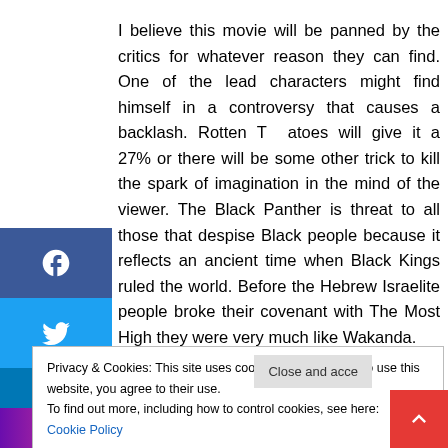I believe this movie will be panned by the critics for whatever reason they can find. One of the lead characters might find himself in a controversy that causes a backlash. Rotten Tomatoes will give it a 27% or there will be some other trick to kill the spark of imagination in the mind of the viewer. The Black Panther is threat to all those that despise Black people because it reflects an ancient time when Black Kings ruled the world. Before the Hebrew Israelite people broke their covenant with The Most High they were very much like Wakanda.
[Figure (other): Social sharing sidebar with Facebook, Twitter, and LinkedIn buttons, and a plus button below]
Privacy & Cookies: This site uses cookies. By continuing to use this website, you agree to their use.
To find out more, including how to control cookies, see here:
Cookie Policy
Close and accept